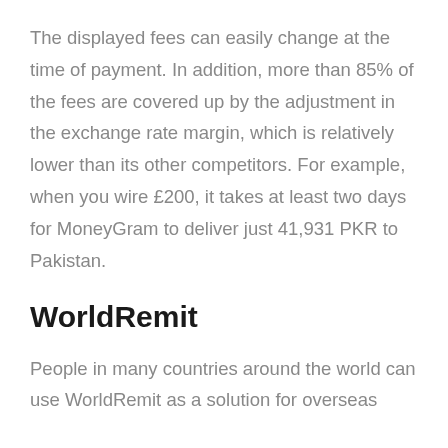The displayed fees can easily change at the time of payment. In addition, more than 85% of the fees are covered up by the adjustment in the exchange rate margin, which is relatively lower than its other competitors. For example, when you wire £200, it takes at least two days for MoneyGram to deliver just 41,931 PKR to Pakistan.
WorldRemit
People in many countries around the world can use WorldRemit as a solution for overseas